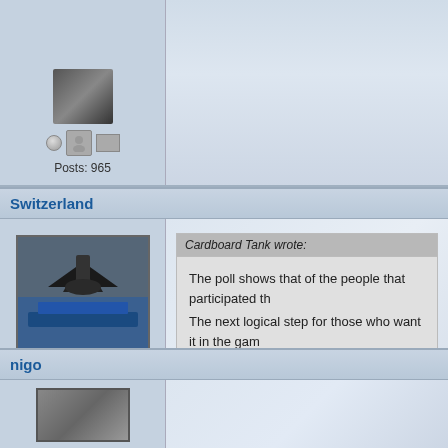[Figure (screenshot): Top portion of a forum post showing avatar area with circle icon, person icon, gray icon, and Posts: 965 text]
Switzerland
[Figure (photo): Avatar image showing a military aircraft (dark colored plane) on blue surface, with DONATOR level 3 badge below, circle/avatar/UK flag icons, Posts: 501]
Cardboard Tank wrote:
The poll shows that of the people that participated th...
The next logical step for those who want it in the gam...
Considering it's far from unanimous and less than 100 p...
nigo
[Figure (photo): Partially visible avatar at bottom of page]